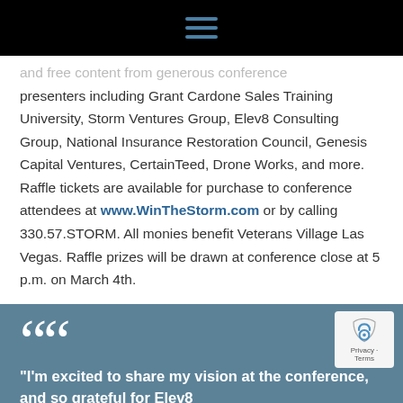[Figure (other): Black header bar with hamburger menu icon (three horizontal lines in blue-gray)]
...and free content from generous conference presenters including Grant Cardone Sales Training University, Storm Ventures Group, Elev8 Consulting Group, National Insurance Restoration Council, Genesis Capital Ventures, CertainTeed, Drone Works, and more. Raffle tickets are available for purchase to conference attendees at www.WinTheStorm.com or by calling 330.57.STORM. All monies benefit Veterans Village Las Vegas. Raffle prizes will be drawn at conference close at 5 p.m. on March 4th.
"I'm excited to share my vision at the conference, and so grateful for Elev8